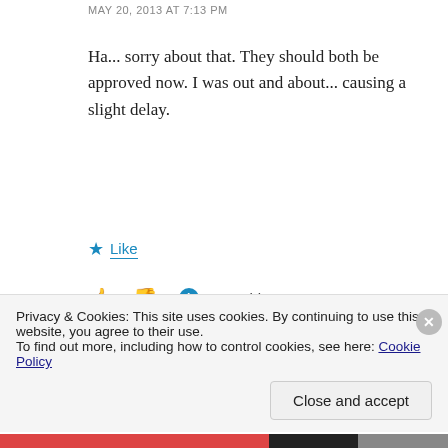MAY 20, 2013 AT 7:13 PM
Ha... sorry about that. They should both be approved now. I was out and about... causing a slight delay.
★ Like
👍 1  👎 0  ℹ Rate This
[Figure (illustration): Apply button (blue rounded rectangle) and circular avatar photo of a man with glasses and beard on grey background]
Privacy & Cookies: This site uses cookies. By continuing to use this website, you agree to their use.
To find out more, including how to control cookies, see here: Cookie Policy
Close and accept